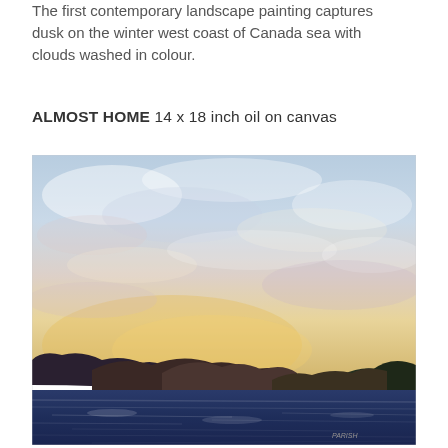The first contemporary landscape painting captures dusk on the winter west coast of Canada sea with clouds washed in colour.
ALMOST HOME 14 x 18 inch oil on canvas
[Figure (photo): Oil painting titled 'Almost Home' showing a dusk seascape on the winter west coast of Canada. The painting depicts dark blue ocean water in the foreground, silhouetted dark hills/islands in the middle ground, and a sky washed with soft colours of pale blue, lavender, white, and warm golden-yellow tones near the horizon. The sky has visible brushwork texture suggesting clouds. A small artist signature appears in the lower right corner.]